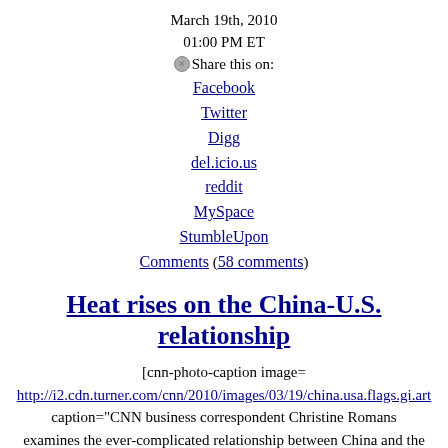March 19th, 2010
01:00 PM ET
Share this on:
Facebook
Twitter
Digg
del.icio.us
reddit
MySpace
StumbleUpon
Comments (58 comments)
Heat rises on the China-U.S. relationship
[cnn-photo-caption image= http://i2.cdn.turner.com/cnn/2010/images/03/19/china.usa.flags.gi.art caption="CNN business correspondent Christine Romans examines the ever-complicated relationship between China and the United States of America."]
By Christine Romans, CNN
(CNN) – The Chinese are mad at the Americans, mild-manned